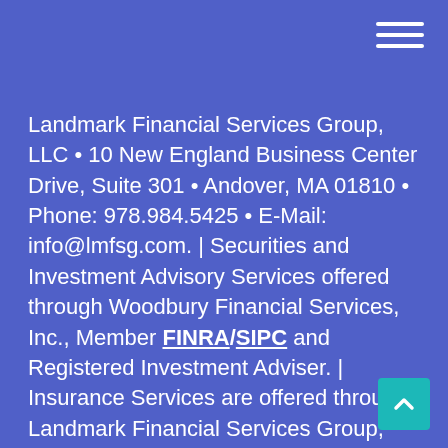Landmark Financial Services Group, LLC • 10 New England Business Center Drive, Suite 301 • Andover, MA 01810 • Phone: 978.984.5425 • E-Mail: info@lmfsg.com. | Securities and Investment Advisory Services offered through Woodbury Financial Services, Inc., Member FINRA/SIPC and Registered Investment Adviser. | Insurance Services are offered through Landmark Financial Services Group, LLC, which is not affiliated with Woodbury Financial Services, Inc. | Nichols & Company,CPA, PC is a public accounting firm that provides accounting and tax services independent of Woodbury Financial Services, Inc. | Investment professionals on this site are currently registered to conduct securities business in Connecticut, Florida, Massachusetts, New Hampshire, and New York.